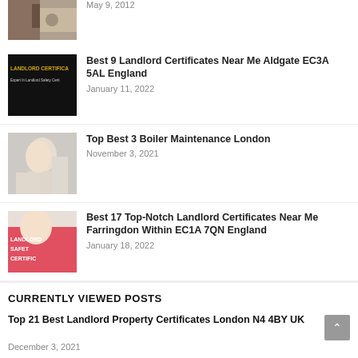[Figure (photo): Partial view of a person's hands at top of page, cropped]
May 9, 2012
[Figure (photo): Black background image with text: LANDLORD CERTIFICA Expert In Landlord Safety Certi]
Best 9 Landlord Certificates Near Me Aldgate EC3A 5AL England
January 11, 2022
[Figure (photo): Woman smiling and looking in mirror, bathroom setting]
Top Best 3 Boiler Maintenance London
November 3, 2021
[Figure (photo): Man in pink shirt with text: LANDLORD SAFET CERTIFIC]
Best 17 Top-Notch Landlord Certificates Near Me Farringdon Within EC1A 7QN England
January 18, 2022
CURRENTLY VIEWED POSTS
Top 21 Best Landlord Property Certificates London N4 4BY UK
December 3, 2021